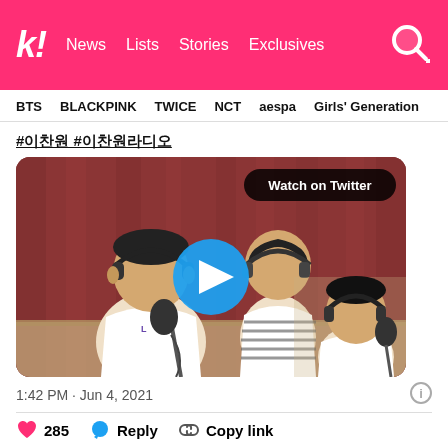k! News Lists Stories Exclusives
BTS  BLACKPINK  TWICE  NCT  aespa  Girls' Generation
#이찬원 #이찬원라디오
[Figure (photo): Video thumbnail showing three people in a radio/podcast studio setting with microphones and headphones. A blue play button circle is centered. A 'Watch on Twitter' badge is in the top right.]
1:42 PM · Jun 4, 2021
285   Reply   Copy link
Explore what's happening on Twitter